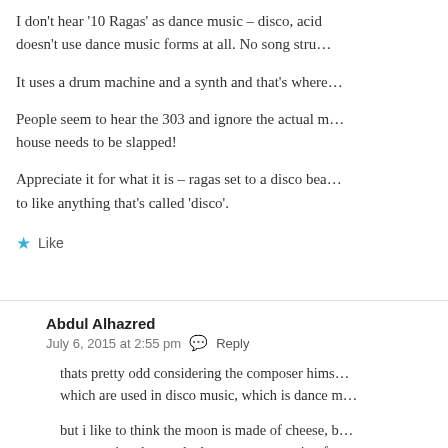I don't hear '10 Ragas' as dance music – disco, acid doesn't use dance music forms at all. No song stru...
It uses a drum machine and a synth and that's where...
People seem to hear the 303 and ignore the actual m... house needs to be slapped!
Appreciate it for what it is – ragas set to a disco bea... to like anything that's called 'disco'.
Like
Abdul Alhazred
July 6, 2015 at 2:55 pm  Reply
thats pretty odd considering the composer hims... which are used in disco music, which is dance m...
but i like to think the moon is made of cheese, b... way – so i understand where you are coming from...